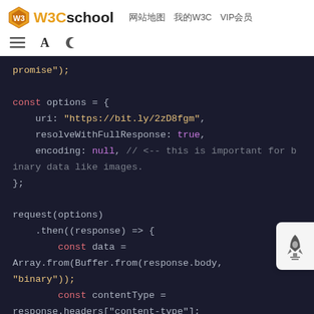W3Cschool  网站地图  我的W3C  VIP会员
[Figure (screenshot): Code editor toolbar with list, font size, and dark mode icons]
[Figure (screenshot): Dark-themed code block showing JavaScript code with request-promise, options object with uri, resolveWithFullResponse, encoding null comment, and request(options).then callback with const data = Array.from(Buffer.from(response.body, 'binary')); const contentType = response.headers['content-type'];]